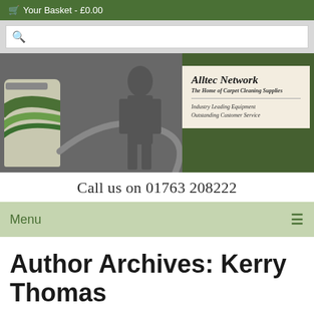🛒 Your Basket - £0.00
[Figure (screenshot): Search bar with magnifying glass icon on grey background]
[Figure (photo): Alltec Network banner image showing carpet cleaning equipment on left (black and white photo), green panel on right with white brand card reading: Alltec Network, The Home of Carpet Cleaning Supplies, Industry Leading Equipment, Outstanding Customer Service]
Call us on 01763 208222
Menu
Author Archives: Kerry Thomas